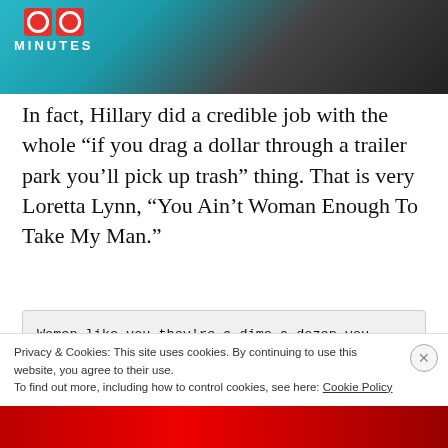[Figure (photo): Top portion of a news/blog page showing a TV screenshot with '60 MINUTES' logo overlay on a teal/dark background with people in suits]
In fact, Hillary did a credible job with the whole “if you drag a dollar through a trailer park you’ll pick up trash” thing. That is very Loretta Lynn, “You Ain’t Woman Enough To Take My Man.”
Women like you they're a dime a dozen you can buy 'em anywhere
For you to get to him I'd have to move over and I'm gonna stand right here
It'll be over my dead body so get out while you can
Privacy & Cookies: This site uses cookies. By continuing to use this website, you agree to their use.
To find out more, including how to control cookies, see here: Cookie Policy
Close and accept